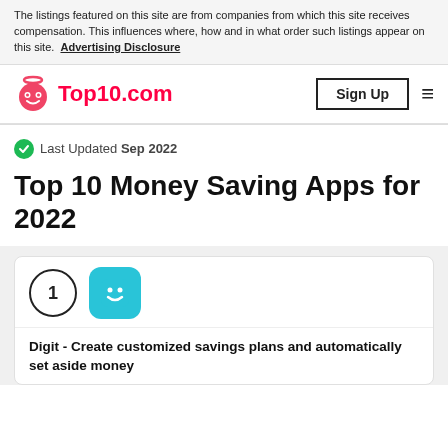The listings featured on this site are from companies from which this site receives compensation. This influences where, how and in what order such listings appear on this site. Advertising Disclosure
[Figure (logo): Top10.com logo with pink robot/smiley icon and pink text]
Sign Up
Last Updated Sep 2022
Top 10 Money Saving Apps for 2022
[Figure (illustration): Rank number 1 circle badge and cyan/teal app icon with smiley face for Digit app]
Digit - Create customized savings plans and automatically set aside money